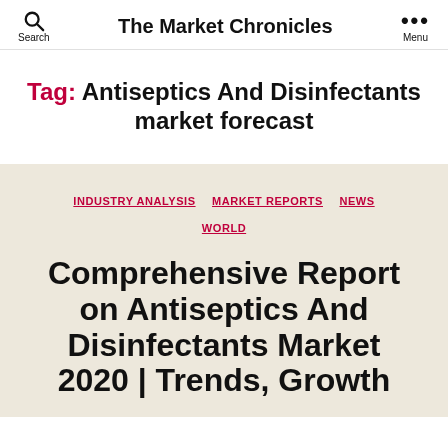The Market Chronicles
Tag: Antiseptics And Disinfectants market forecast
INDUSTRY ANALYSIS   MARKET REPORTS   NEWS   WORLD
Comprehensive Report on Antiseptics And Disinfectants Market 2020 | Trends, Growth